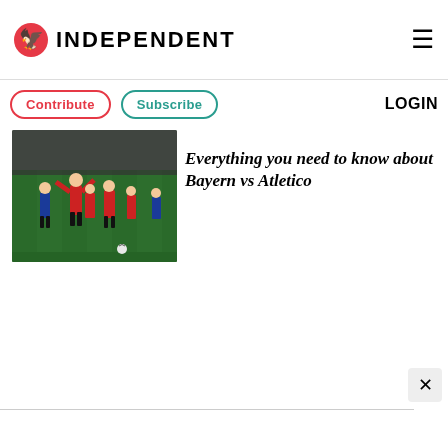INDEPENDENT
Contribute  Subscribe  LOGIN
[Figure (photo): Football match scene with players in red and blue/white Atletico Madrid jerseys on a green pitch, crowd in background]
Everything you need to know about Bayern vs Atletico